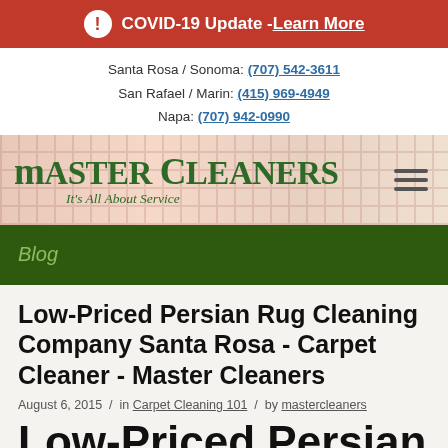COVID-19 Update - Learn More
Santa Rosa / Sonoma: (707) 542-3611
San Rafael / Marin: (415) 969-4949
Napa: (707) 942-0990
[Figure (logo): Master Cleaners logo with tagline 'It's All About Service' on a patterned rug background]
Blog
Low-Priced Persian Rug Cleaning Company Santa Rosa -  Carpet Cleaner -  Master Cleaners
August 6, 2015  /  in Carpet Cleaning 101  /  by mastercleaners
Low-Priced Persian